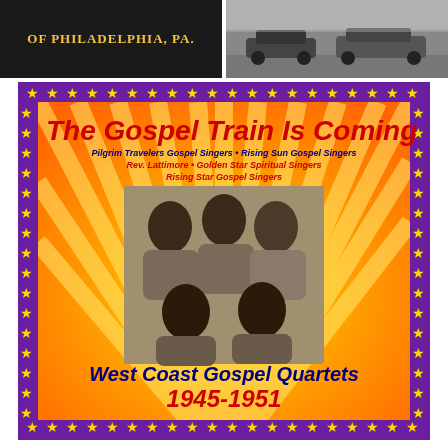[Figure (other): Top left: dark background with yellow text reading 'OF PHILADELPHIA, PA.']
[Figure (photo): Top right: black and white photo of vintage automobiles]
[Figure (illustration): Album cover: 'The Gospel Train Is Coming' - West Coast Gospel Quartets 1945-1951, featuring Pilgrim Travelers Gospel Singers, Rising Sun Gospel Singers, Rev. Lattimore, Golden Star Spiritual Singers, Rising Star Gospel Singers. Purple border with stars, yellow/orange sunburst background, photo of five gospel singers.]